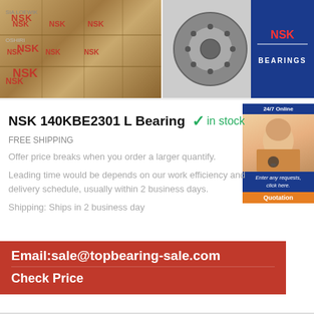[Figure (photo): NSK bearing boxes stacked in a warehouse]
[Figure (photo): NSK bearing product and NSK Bearings logo on blue background]
NSK 140KBE2301 L Bearing
✓in stock
FREE SHIPPING
Offer price breaks when you order a larger quantify.
Leading time would be depends on our work efficiency and delivery schedule, usually within 2 business days.
Shipping: Ships in 2 business day
[Figure (photo): 24/7 Online customer service agent widget with Quotation button]
Email:sale@topbearing-sale.com
Check Price